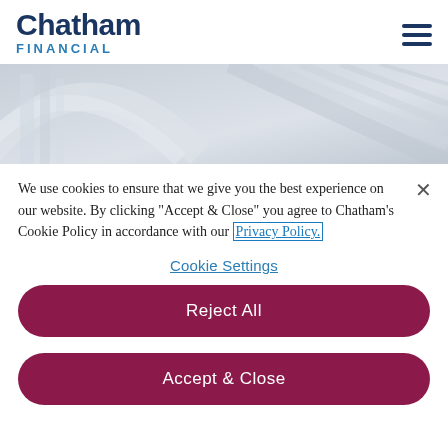Chatham FINANCIAL
[Figure (photo): Abstract architectural hero image showing diagonal lines and glass structures in grey/silver tones]
We use cookies to ensure that we give you the best experience on our website. By clicking "Accept & Close" you agree to Chatham's Cookie Policy in accordance with our Privacy Policy.
Cookie Settings
Reject All
Accept & Close